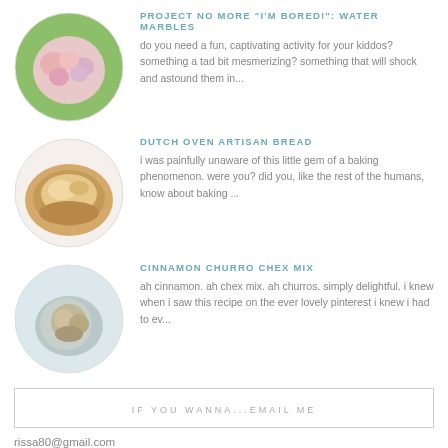PROJECT NO MORE "I'M BORED!": WATER MARBLES
do you need a fun, captivating activity for your kiddos? something a tad bit mesmerizing? something that will shock and astound them in...
[Figure (photo): Circular thumbnail photo of colorful water marbles held in hands on green background]
DUTCH OVEN ARTISAN BREAD
i was painfully unaware of this little gem of a baking phenomenon. were you? did you, like the rest of the humans, know about baking ...
[Figure (photo): Circular thumbnail photo of artisan bread loaf]
CINNAMON CHURRO CHEX MIX
ah cinnamon. ah chex mix. ah churros. simply delightful. i knew when i saw this recipe on the ever lovely pinterest i knew i had to ev...
[Figure (photo): Circular thumbnail photo of cinnamon churro chex mix in a bowl]
IF YOU WANNA...EMAIL ME
rissa80@gmail.com